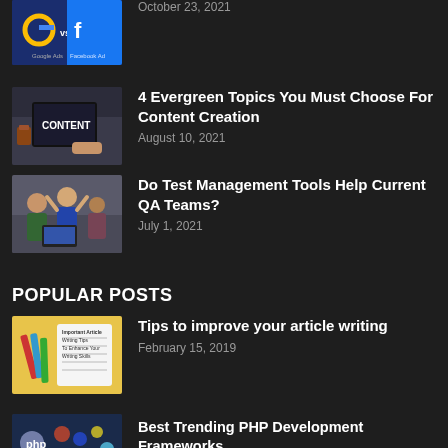[Figure (photo): Partial thumbnail showing Google Ads vs Facebook Ads graphic]
October 23, 2021
[Figure (photo): Thumbnail of person typing on laptop with CONTENT text overlay]
4 Evergreen Topics You Must Choose For Content Creation
August 10, 2021
[Figure (photo): Thumbnail of team celebrating in office]
Do Test Management Tools Help Current QA Teams?
July 1, 2021
POPULAR POSTS
[Figure (photo): Thumbnail showing article writing tips infographic on yellow background]
Tips to improve your article writing
February 15, 2019
[Figure (photo): Thumbnail showing PHP development frameworks illustration]
Best Trending PHP Development Frameworks